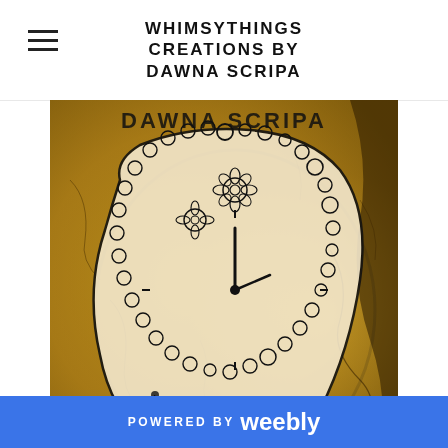WHIMSYTHINGS CREATIONS BY DAWNA SCRIPA
[Figure (photo): A decorative clock doodle illustration on a golden/brown textured background with crackled surface. The clock face is drawn in black ink with floral and bubble patterns. Text 'DAWNA SCRIPA' visible at the top of the image.]
Strange Time, indeed.
This Picture Of The Day is a clock. Yep, it is. I think it's fitting to doodle a clock during the last hour of the last day of my daily creativity blogging assignment. I'll get it done today, March 31st, but it won't get posted until after midnight because I am flying until then. I guess that's why I chose a clock to doodle for my Zentangle today (see post at the beginning of the
POWERED BY weebly